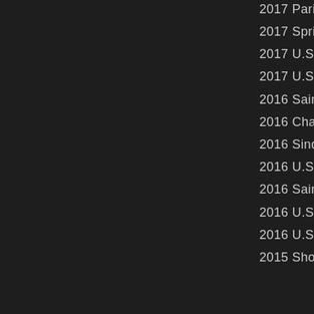2017 Paris GC
2017 Spring C
2017 U.S. Cha
2017 U.S. Wo
2016 Saint Lou
2016 Champio
2016 Sinquefie
2016 U.S. Junio
2016 Saint Lou
2016 U.S. Cha
2016 U.S. Wo
2015 Showdo